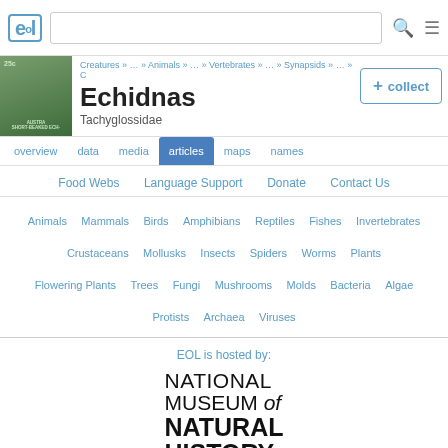EOL — Encyclopedia of Life header with search bar and menu
Creatures » … » Animals » … » Vertebrates » … » Synapsids » … » C
Echidnas
Tachyglossidae
+ collect
overview  data  media  articles  maps  names
Food Webs  Language Support  Donate  Contact Us
Animals  Mammals  Birds  Amphibians  Reptiles  Fishes  Invertebrates  Crustaceans  Mollusks  Insects  Spiders  Worms  Plants  Flowering Plants  Trees  Fungi  Mushrooms  Molds  Bacteria  Algae  Protists  Archaea  Viruses
EOL is hosted by:
[Figure (logo): National Museum of Natural History Smithsonian logo in black text]